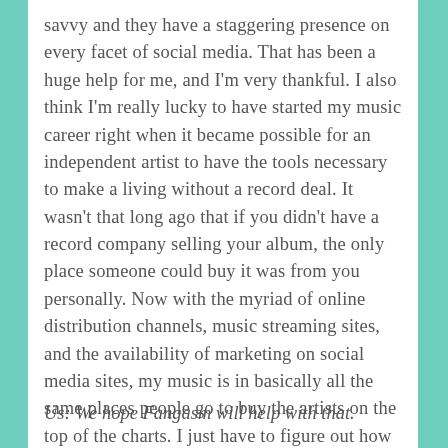savvy and they have a staggering presence on every facet of social media. That has been a huge help for me, and I'm very thankful. I also think I'm really lucky to have started my music career right when it became possible for an independent artist to have the tools necessary to make a living without a record deal. It wasn't that long ago that if you didn't have a record company selling your album, the only place someone could buy it was from you personally. Now with the myriad of online distribution channels, music streaming sites, and the availability of marketing on social media sites, my music is in basically all the same places people go to buy the artists on the top of the charts. I just have to figure out how to introduce them to it!
Us: We hope Fangasm will help with that.